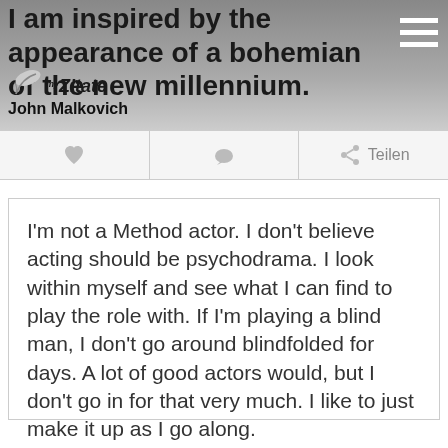I am inspired by the appearance of a bohemian of the new millennium.
[Figure (logo): myZitate logo with quill pen icon]
John Malkovich
♥  ●  Teilen
I'm not a Method actor. I don't believe acting should be psychodrama. I look within myself and see what I can find to play the role with. If I'm playing a blind man, I don't go around blindfolded for days. A lot of good actors would, but I don't go in for that very much. I like to just make it up as I go along.